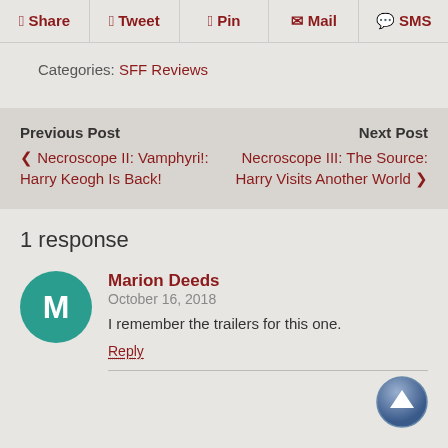f Share | Tweet | Pin | Mail | SMS
Categories: SFF Reviews
Previous Post
< Necroscope II: Vamphyri!: Harry Keogh Is Back!
Next Post
Necroscope III: The Source: Harry Visits Another World >
1 response
Marion Deeds
October 16, 2018
I remember the trailers for this one.
Reply